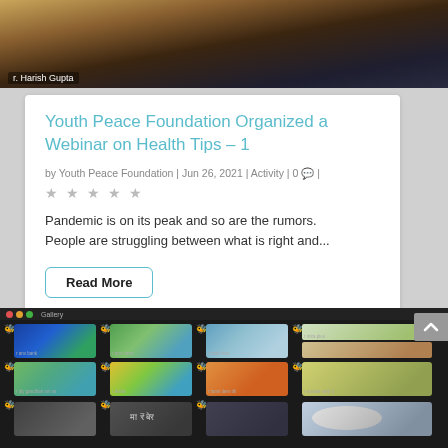[Figure (photo): Cropped photo of a person (Dr. Harish Gupta) with label overlay at bottom left]
Youth Peace Foundation Organized a Webinar on Health Tips – 1
by Youth Peace Foundation | Jun 26, 2021 | Activity | 0 💬 |
★★★★★ (star rating, all empty/gray)
Pandemic is on its peak and so are the rumors. People are struggling between what is right and...
Read More
[Figure (screenshot): Screenshot of a video conferencing grid showing multiple participants holding up drawings/artwork, on a dark background. Each participant tile has a small yellow emoji icon and a name label.]